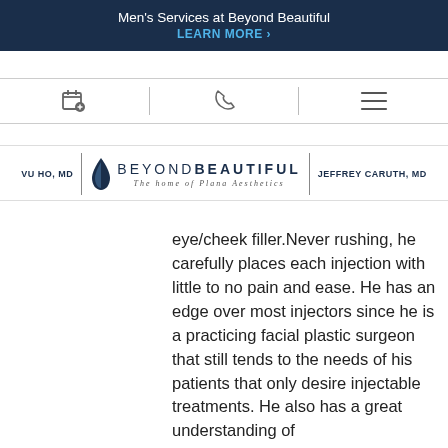Men's Services at Beyond Beautiful
LEARN MORE >
[Figure (screenshot): Navigation icon bar with calendar/appointment icon, phone icon, and hamburger menu icon, separated by vertical dividers]
[Figure (logo): Beyond Beautiful logo with tagline 'The home of Plana Aesthetics', flanked by 'VU HO, MD' on the left and 'JEFFREY CARUTH, MD' on the right]
eye/cheek filler.Never rushing, he carefully places each injection with little to no pain and ease. He has an edge over most injectors since he is a practicing facial plastic surgeon that still tends to the needs of his patients that only desire injectable treatments. He also has a great understanding of